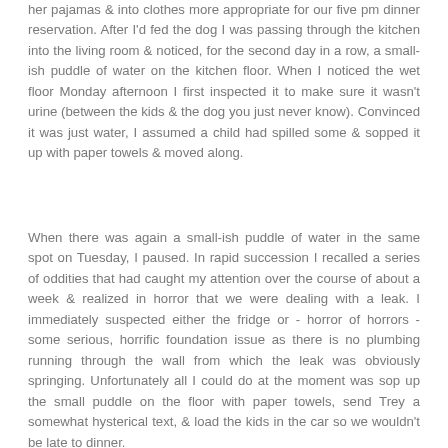her pajamas & into clothes more appropriate for our five pm dinner reservation. After I'd fed the dog I was passing through the kitchen into the living room & noticed, for the second day in a row, a small-ish puddle of water on the kitchen floor. When I noticed the wet floor Monday afternoon I first inspected it to make sure it wasn't urine (between the kids & the dog you just never know). Convinced it was just water, I assumed a child had spilled some & sopped it up with paper towels & moved along.
When there was again a small-ish puddle of water in the same spot on Tuesday, I paused. In rapid succession I recalled a series of oddities that had caught my attention over the course of about a week & realized in horror that we were dealing with a leak. I immediately suspected either the fridge or - horror of horrors - some serious, horrific foundation issue as there is no plumbing running through the wall from which the leak was obviously springing. Unfortunately all I could do at the moment was sop up the small puddle on the floor with paper towels, send Trey a somewhat hysterical text, & load the kids in the car so we wouldn't be late to dinner.